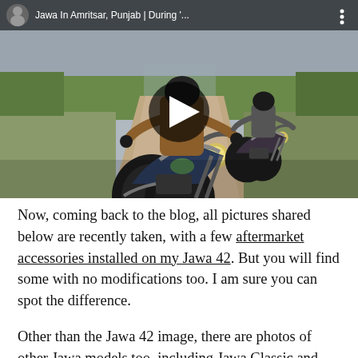[Figure (screenshot): YouTube video thumbnail showing two motorcyclists riding on a road in Amritsar, Punjab. Title bar reads 'Jawa In Amritsar, Punjab | During '...' with a play button in the center.]
Now, coming back to the blog, all pictures shared below are recently taken, with a few aftermarket accessories installed on my Jawa 42. But you will find some with no modifications too. I am sure you can spot the difference.
Other than the Jawa 42 image, there are photos of other Jawa models too, including Jawa Classic and Jawa Perak.